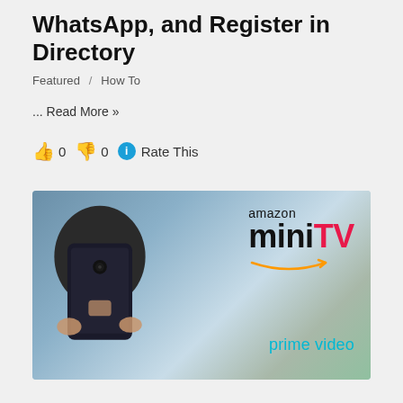WhatsApp, and Register in Directory
Featured / How To
... Read More »
👍 0 👎 0 ℹ Rate This
[Figure (photo): A child holding a smartphone in front of their face, with Amazon miniTV prime video branding on the right side of the image.]